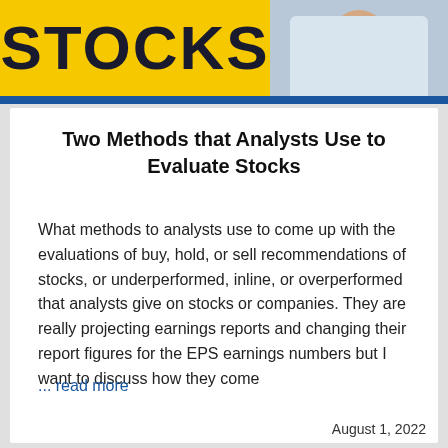[Figure (illustration): Top banner showing 'STOCKS' text on yellow background with a partial view of a person in a striped shirt on the right side, followed by a blue horizontal strip.]
Two Methods that Analysts Use to Evaluate Stocks
What methods to analysts use to come up with the evaluations of buy, hold, or sell recommendations of stocks, or underperformed, inline, or overperformed that analysts give on stocks or companies. They are really projecting earnings reports and changing their report figures for the EPS earnings numbers but I want to discuss how they come
... read more
August 1, 2022